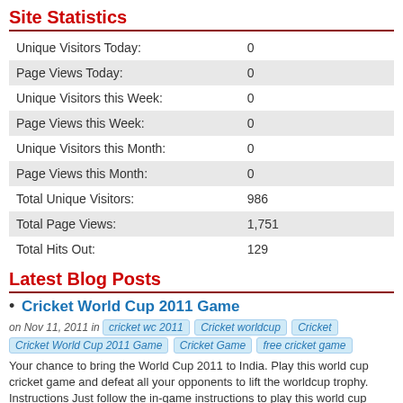Site Statistics
|  |  |
| --- | --- |
| Unique Visitors Today: | 0 |
| Page Views Today: | 0 |
| Unique Visitors this Week: | 0 |
| Page Views this Week: | 0 |
| Unique Visitors this Month: | 0 |
| Page Views this Month: | 0 |
| Total Unique Visitors: | 986 |
| Total Page Views: | 1,751 |
| Total Hits Out: | 129 |
Latest Blog Posts
Cricket World Cup 2011 Game
on Nov 11, 2011 in  cricket wc 2011  Cricket worldcup  Cricket  Cricket World Cup 2011 Game  Cricket Game  free cricket game
Your chance to bring the World Cup 2011 to India. Play this world cup cricket game and defeat all your opponents to lift the worldcup trophy. Instructions Just follow the in-game instructions to play this world cup cricket 2011 game. ...
IPL Cricket Game